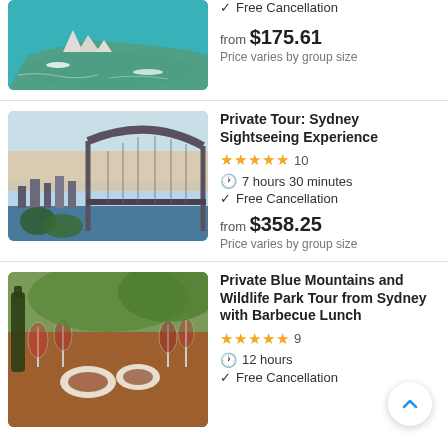[Figure (photo): Aerial view of Sydney Opera House and harbour with boats on turquoise water]
Free Cancellation
from $175.61
Price varies by group size
Private Tour: Sydney Sightseeing Experience
[Figure (photo): Sydney Harbour Bridge at sunset with city skyline and water in foreground]
4.5 stars, 10 reviews
7 hours 30 minutes
Free Cancellation
from $358.25
Price varies by group size
Private Blue Mountains and Wildlife Park Tour from Sydney with Barbecue Lunch
[Figure (photo): Outdoor dining table with wine glasses, wine bottles and food spread]
5 stars, 9 reviews
12 hours
Free Cancellation